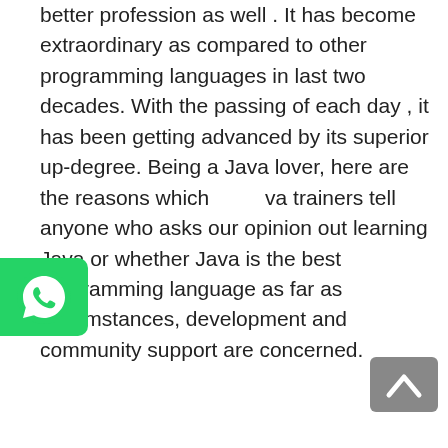better profession as well . It has become extraordinary as compared to other programming languages in last two decades. With the passing of each day , it has been getting advanced by its superior up-degree. Being a Java lover, here are the reasons which Java trainers tell anyone who asks our opinion about learning Java or whether Java is the best programming language as far as circumstances, development and community support are concerned.
[Figure (logo): WhatsApp icon — green rounded rectangle with white phone handset logo]
Java is easy to learn and very flexible programming language.
Java is an open-source programming and Object Oriented Programming Language.
Java has Rich APIs that are very easy to